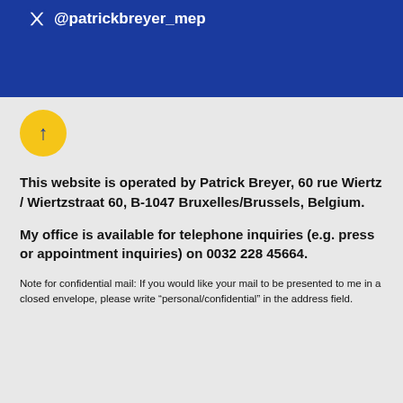@patrickbreyer_mep
[Figure (illustration): Yellow circular button with an upward-pointing arrow in dark blue]
This website is operated by Patrick Breyer, 60 rue Wiertz / Wiertzstraat 60, B-1047 Bruxelles/Brussels, Belgium.
My office is available for telephone inquiries (e.g. press or appointment inquiries) on 0032 228 45664.
Note for confidential mail: If you would like your mail to be presented to me in a closed envelope, please write “personal/confidential” in the address field.